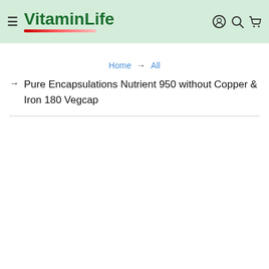VitaminLife
Home → All
→ Pure Encapsulations Nutrient 950 without Copper & Iron 180 Vegcap